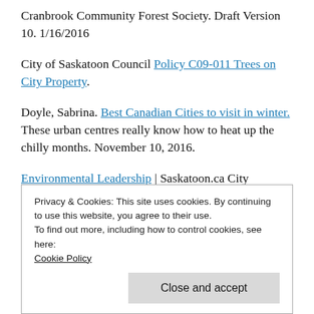Cranbrook Community Forest Society. Draft Version 10. 1/16/2016
City of Saskatoon Council Policy C09-011 Trees on City Property.
Doyle, Sabrina. Best Canadian Cities to visit in winter. These urban centres really know how to heat up the chilly months. November 10, 2016.
Environmental Leadership | Saskatoon.ca City
Privacy & Cookies: This site uses cookies. By continuing to use this website, you agree to their use.
To find out more, including how to control cookies, see here:
Cookie Policy
Close and accept